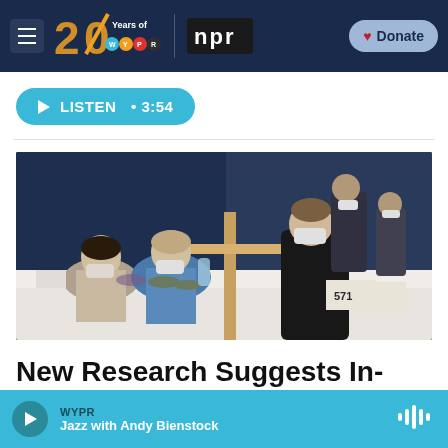WYPR | 20 Years of WYPR | NPR | Donate
▶ LISTEN · 3:54
[Figure (photo): People at a vaccination or election site wearing masks. Two women seated at a table with papers and a water bottle, one wearing blue medical scrubs and gloves. A man in a black hoodie leans over the table. In the background, two more masked people stand near a wooden frame divider with a plexiglass barrier.]
New Research Suggests In-
WYPR · Jazz with Andy Bienstock